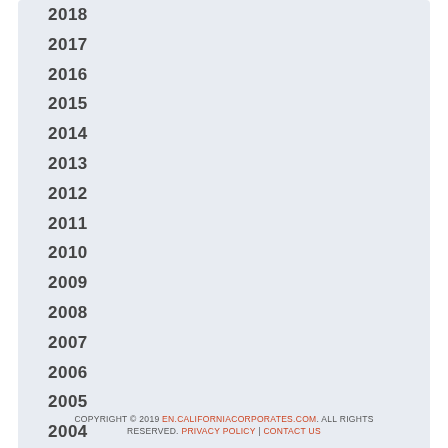2018
2017
2016
2015
2014
2013
2012
2011
2010
2009
2008
2007
2006
2005
2004
2003
COPYRIGHT © 2019 EN.CALIFORNIACORPORATES.COM. ALL RIGHTS RESERVED. PRIVACY POLICY | CONTACT US